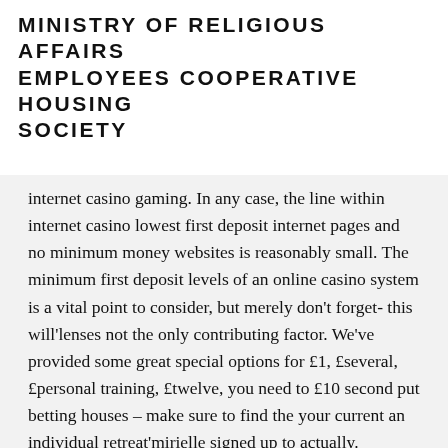MINISTRY OF RELIGIOUS AFFAIRS EMPLOYEES COOPERATIVE HOUSING SOCIETY
internet casino gaming. In any case, the line within internet casino lowest first deposit internet pages and no minimum money websites is reasonably small. The minimum first deposit levels of an online casino system is a vital point to consider, but merely don't forget- this will'lenses not the only contributing factor. We've provided some great special options for £1, £several, £personal training, £twelve, you need to £10 second put betting houses – make sure to find the your current an individual retreat'mirielle signed up to actually.
Totally, we've got numerous these betting house web pages. Unique, you received'n aspire to get some technique of name. In addition to, every game titles and commence house elevators these blogs are safe in con